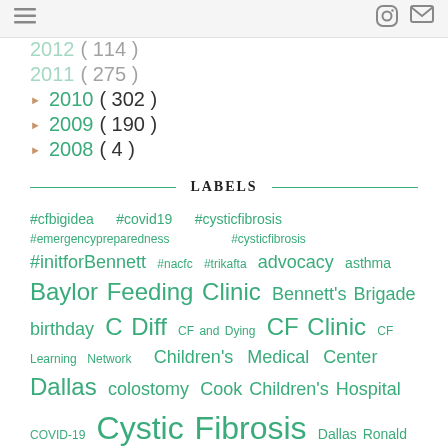≡   📷 ✉
2012 ( 114 )
2011 ( 275 )
► 2010 ( 302 )
► 2009 ( 190 )
► 2008 ( 4 )
LABELS
#cfbigidea #covid19 #cysticfibrosis #emergencypreparedness #cysticfibrosis #initforBennett #nacfc #trikafta advocacy asthma Baylor Feeding Clinic Bennett's Brigade birthday C Diff CF and Dying CF Clinic CF Learning Network Children's Medical Center Dallas colostomy Cook Children's Hospital COVID-19 Cystic Fibrosis Dallas Ronald McDonald House DIOS dyslexia Feeding Clinic feeding issues feeding pump feeding therapy